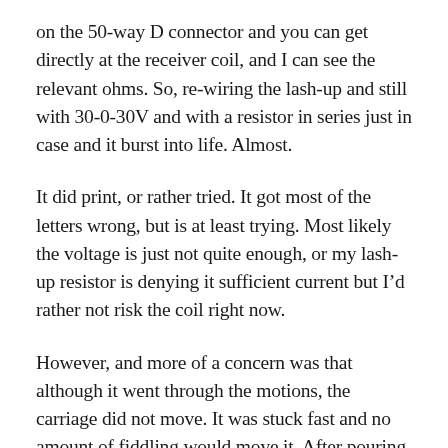on the 50-way D connector and you can get directly at the receiver coil, and I can see the relevant ohms. So, re-wiring the lash-up and still with 30-0-30V and with a resistor in series just in case and it burst into life. Almost.
It did print, or rather tried. It got most of the letters wrong, but is at least trying. Most likely the voltage is just not quite enough, or my lash-up resistor is denying it sufficient current but I’d rather not risk the coil right now.
However, and more of a concern was that although it went through the motions, the carriage did not move. It was stuck fast and no amount of fiddling would move it. After pouring over the workshop manual there seemed to be a lever in the wrong position.